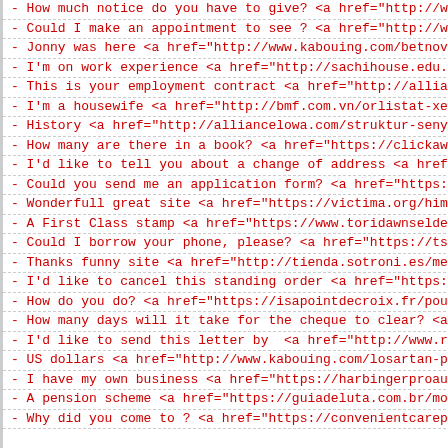- How much notice do you have to give? <a href="http://w
- Could I make an appointment to see ? <a href="http://ww
- Jonny was here <a href="http://www.kabouing.com/betnova
- I'm on work experience <a href="http://sachihouse.edu.v
- This is your employment contract <a href="http://allian
- I'm a housewife <a href="http://bmf.com.vn/orlistat-xen
- History <a href="http://alliancelowa.com/struktur-senya
- How many are there in a book? <a href="https://clickawa
- I'd like to tell you about a change of address <a href=
- Could you send me an application form? <a href="https:/
- Wonderfull great site <a href="https://victima.org/himc
- A First Class stamp <a href="https://www.toridawnseldem
- Could I borrow your phone, please? <a href="https://tsg
- Thanks funny site <a href="http://tienda.sotroni.es/meb
- I'd like to cancel this standing order <a href="https:/
- How do you do? <a href="https://isapointdecroix.fr/poun
- How many days will it take for the cheque to clear? <a
- I'd like to send this letter by  <a href="http://www.ra
- US dollars <a href="http://www.kabouing.com/losartan-po
- I have my own business <a href="https://harbingerproaud
- A pension scheme <a href="https://guiadeluta.com.br/mot
- Why did you come to ? <a href="https://convenientcarep